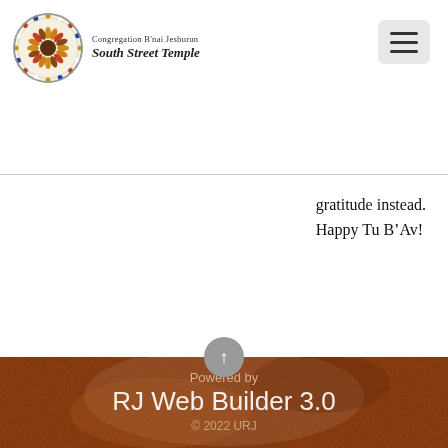[Figure (logo): Congregation B'nai Jeshurun South Street Temple circular stained-glass window logo with text]
gratitude instead.
Happy Tu B’Av!
[Figure (photo): Brown textured background (wood/fabric) with a soft white glow in the center and a scroll-up arrow button]
Powered by
RJ Web Builder 3.0
© 2022 URJ